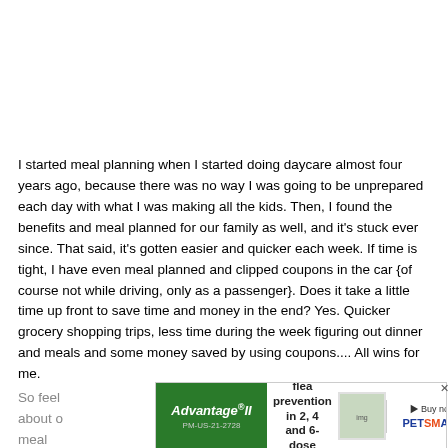I started meal planning when I started doing daycare almost four years ago, because there was no way I was going to be unprepared each day with what I was making all the kids. Then, I found the benefits and meal planned for our family as well, and it's stuck ever since.  That said, it's gotten easier and quicker each week.  If time is tight, I have even meal planned and clipped coupons in the car {of course not while driving, only as a passenger}.  Does it take a little time up front to save time and money in the end?  Yes.  Quicker grocery shopping trips, less time during the week figuring out dinner and meals and some money saved by using coupons....  All wins for me.
So feel ... have about o... saving meal...
[Figure (other): Advertisement banner for Advantage II flea prevention product and PetSmart. Green left section with 'Advantage II' brand name, middle section with text 'Effective flea prevention in 2, 4 and 6-dose packs.', image of product, and right section with PetSmart logo and 'Buy now' button.]